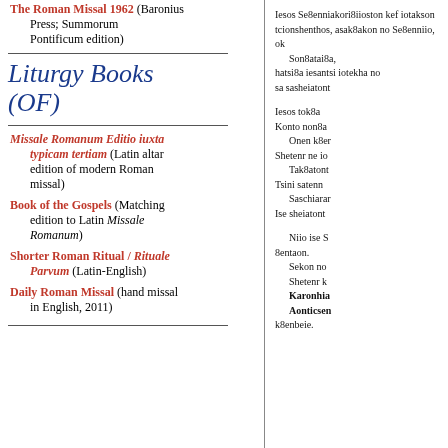The Roman Missal 1962 (Baronius Press; Summorum Pontificum edition)
Liturgy Books (OF)
Missale Romanum Editio iuxta typicam tertiam (Latin altar edition of modern Roman missal)
Book of the Gospels (Matching edition to Latin Missale Romanum)
Shorter Roman Ritual / Rituale Parvum (Latin-English)
Daily Roman Missal (hand missal in English, 2011)
Iesos Se8enniakori8iioston kef iotakson tcionshenthos, asak8akon no Se8enniio, ok Son8atai8a, hatsi8a iesantsi iotekha no sa sasheiatont...
Iesos tok8a Konto non8a Onen k8er Shetenr ne io Tak8atont Tsini satenn Saschiarar Ise sheiatont...
Niio ise S 8entaon. Sekon no Shetenr k Karonhia Aonticsen k8enbeie.